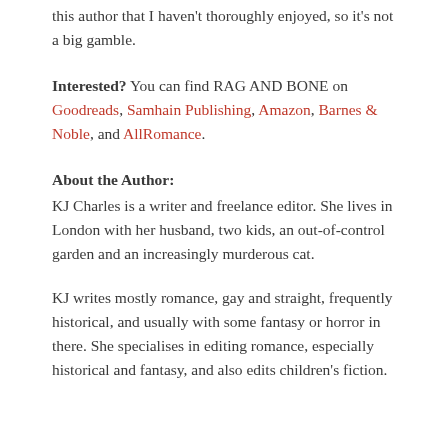this author that I haven't thoroughly enjoyed, so it's not a big gamble.
Interested? You can find RAG AND BONE on Goodreads, Samhain Publishing, Amazon, Barnes & Noble, and AllRomance.
About the Author:
KJ Charles is a writer and freelance editor. She lives in London with her husband, two kids, an out-of-control garden and an increasingly murderous cat.
KJ writes mostly romance, gay and straight, frequently historical, and usually with some fantasy or horror in there. She specialises in editing romance, especially historical and fantasy, and also edits children's fiction.